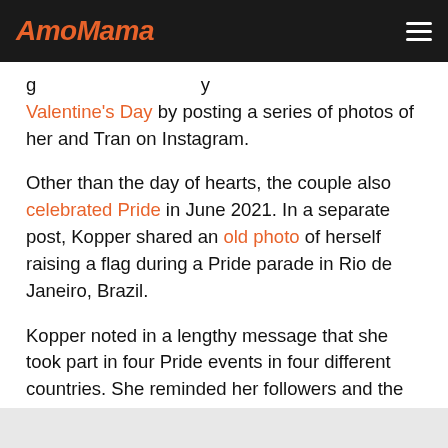AmoMama
...Valentine's Day by posting a series of photos of her and Tran on Instagram.
Other than the day of hearts, the couple also celebrated Pride in June 2021. In a separate post, Kopper shared an old photo of herself raising a flag during a Pride parade in Rio de Janeiro, Brazil.
Kopper noted in a lengthy message that she took part in four Pride events in four different countries. She reminded her followers and the LGBTQ+ community that they are loved and supported.